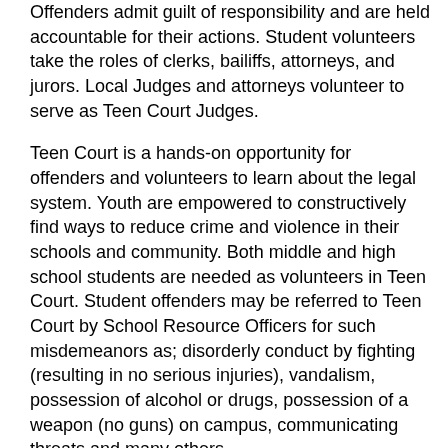Offenders admit guilt of responsibility and are held accountable for their actions. Student volunteers take the roles of clerks, bailiffs, attorneys, and jurors. Local Judges and attorneys volunteer to serve as Teen Court Judges.
Teen Court is a hands-on opportunity for offenders and volunteers to learn about the legal system. Youth are empowered to constructively find ways to reduce crime and violence in their schools and community. Both middle and high school students are needed as volunteers in Teen Court. Student offenders may be referred to Teen Court by School Resource Officers for such misdemeanors as; disorderly conduct by fighting (resulting in no serious injuries), vandalism, possession of alcohol or drugs, possession of a weapon (no guns) on campus, communicating threats and many others.
4-H W.A.Y Mentoring